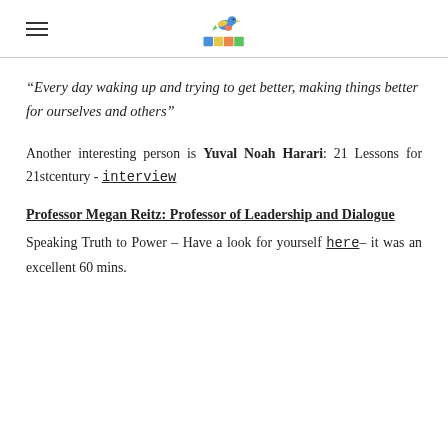[logo: bird on blocks, hamburger menu]
“Every day waking up and trying to get better, making things better for ourselves and others”
Another interesting person is Yuval Noah Harari: 21 Lessons for 21stcentury - interview
Professor Megan Reitz: Professor of Leadership and Dialogue
Speaking Truth to Power – Have a look for yourself here– it was an excellent 60 mins.